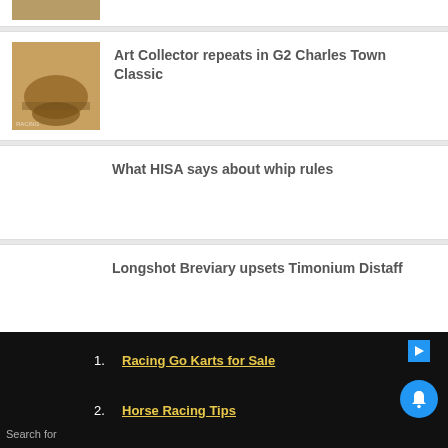[Figure (photo): Partial horse racing photo at top, cropped]
Art Collector repeats in G2 Charles Town Classic
[Figure (photo): Horse racing photo - Art Collector]
What HISA says about whip rules
Longshot Breviary upsets Timonium Distaff
Timonium meet to kick off August 26
Search for
1. Racing Go Karts for Sale
2. Horse Racing Tips